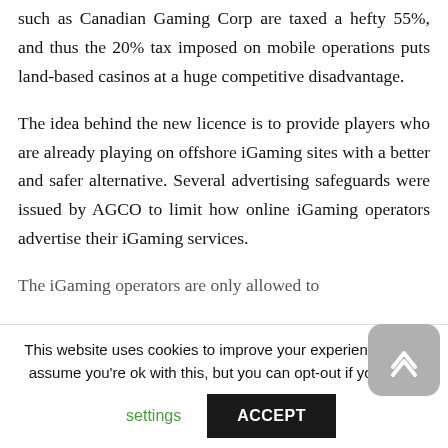such as Canadian Gaming Corp are taxed a hefty 55%, and thus the 20% tax imposed on mobile operations puts land-based casinos at a huge competitive disadvantage.
The idea behind the new licence is to provide players who are already playing on offshore iGaming sites with a better and safer alternative. Several advertising safeguards were issued by AGCO to limit how online iGaming operators advertise their iGaming services.
The iGaming operators are only allowed to
This website uses cookies to improve your experience. We'll assume you're ok with this, but you can opt-out if you wish.
settings
ACCEPT